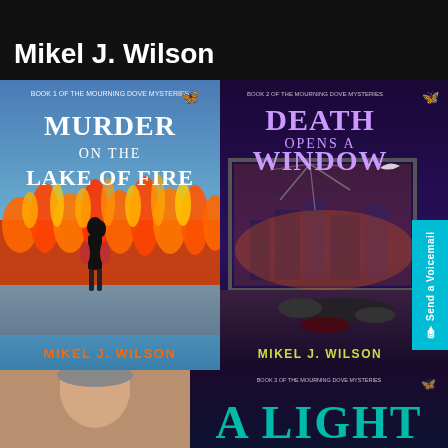Mikel J. Wilson
[Figure (photo): Book cover: Murder on the Lake of Fire by Mikel J. Wilson — Book 1 of the Mourning Dove Mysteries. Shows a silhouette of a woman walking toward a massive wall of fire on a frozen lake.]
[Figure (photo): Book cover: Death Opens a Window by Mikel J. Wilson — Book 2 of the Mourning Dove Mysteries. Shows a body on the floor near a shattered window overlooking a city skyline.]
[Figure (photo): Author photo: partial headshot of Mikel J. Wilson]
[Figure (photo): Book cover partial: A Light — Book 3 of the Mourning Dove Mysteries. Dark background with teal text.]
Send a Voicemail